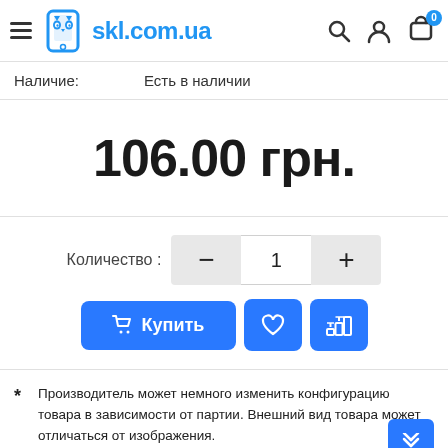[Figure (screenshot): skl.com.ua website header with hamburger menu, logo, search, user, and cart icons]
Наличие: Есть в наличии
106.00 грн.
Количество : — 1 +
🛒 Купить
* Производитель может немного изменить конфигурацию товара в зависимости от партии. Внешний вид товара может отличаться от изображения.